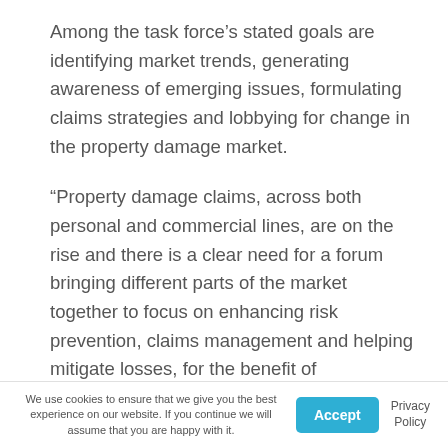Among the task force's stated goals are identifying market trends, generating awareness of emerging issues, formulating claims strategies and lobbying for change in the property damage market.
“Property damage claims, across both personal and commercial lines, are on the rise and there is a clear need for a forum bringing different parts of the market together to focus on enhancing risk prevention, claims management and helping mitigate losses, for the benefit of
We use cookies to ensure that we give you the best experience on our website. If you continue we will assume that you are happy with it. Accept Privacy Policy